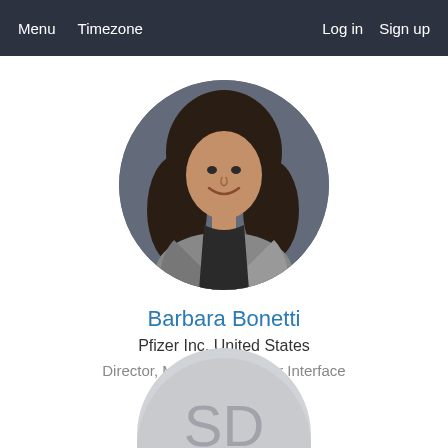Menu  Timezone  Log in  Sign up
[Figure (photo): Circular profile photo of Barbara Bonetti, a woman with long dark hair, smiling, wearing a grey blazer over a dark top, on a grey background.]
Barbara Bonetti
Pfizer Inc, United States
Director, Medical Customer Interface
[Figure (photo): Partial circular avatar showing initials at bottom of page, grey background with darker grey letters partially visible.]